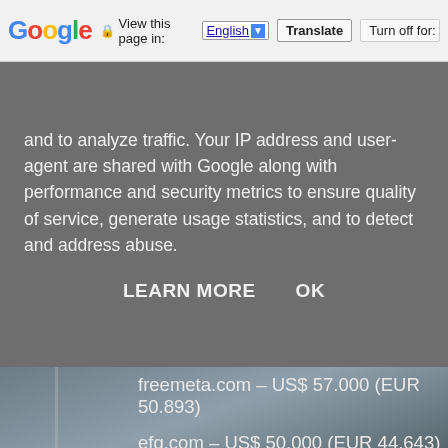[Figure (screenshot): Google Translate browser toolbar showing 'View this page in: English [v] Translate | Turn off for: P']
and to analyze traffic. Your IP address and user-agent are shared with Google along with performance and security metrics to ensure quality of service, generate usage statistics, and to detect and address abuse.
LEARN MORE   OK
freemeta.com – US$ 57.000 (EUR 50.893)
efg.com – US$ 50.000 (EUR 44.643)
allfamily.com – US$ 23.499 (EUR 20.981)
entresol.com – EUR 14.000
simur.com – US$ 14.400 (EUR 12.857)
adlook.com – US$ 12.000 (EUR 10.714)